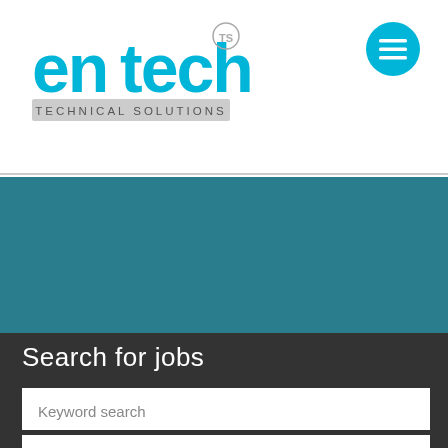[Figure (logo): Entech Technical Solutions logo with cyan/blue stylized text 'entech' and subtitle 'TECHNICAL SOLUTIONS', with a small 'TS' trademark circle]
[Figure (other): Cyan circular hamburger menu icon (three horizontal lines) in the top right corner]
[Figure (other): Teal/dark cyan hero banner section below the header]
Search for jobs
Keyword search
Location